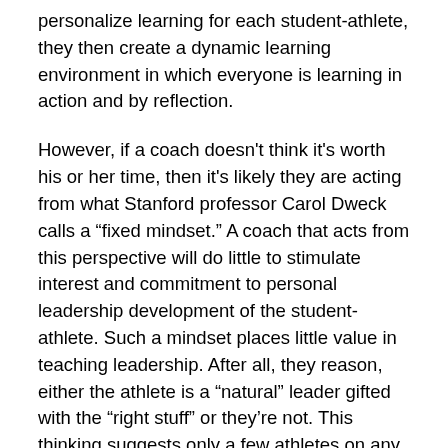personalize learning for each student-athlete, they then create a dynamic learning environment in which everyone is learning in action and by reflection.
However, if a coach doesn't think it's worth his or her time, then it's likely they are acting from what Stanford professor Carol Dweck calls a “fixed mindset.” A coach that acts from this perspective will do little to stimulate interest and commitment to personal leadership development of the student-athlete. Such a mindset places little value in teaching leadership. After all, they reason, either the athlete is a “natural” leader gifted with the “right stuff” or they’re not. This thinking suggests only a few athletes on any team are capable of leading. Such thinking makes no sense.
Leadership is not an all-or-nothing ability, something you